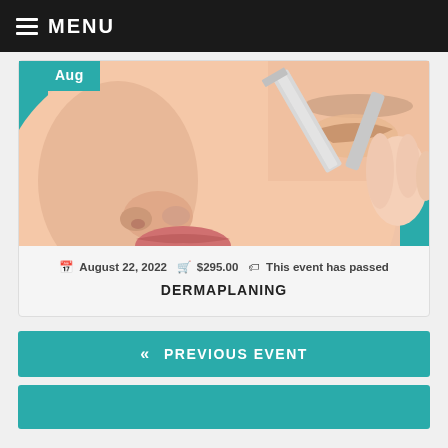MENU
[Figure (photo): Close-up photo of a woman's face receiving a dermaplaning treatment with a metal blade tool held near her eye area. A teal 'Aug' badge overlays the top-left corner of the image.]
August 22, 2022  $295.00  This event has passed
DERMAPLANING
« PREVIOUS EVENT